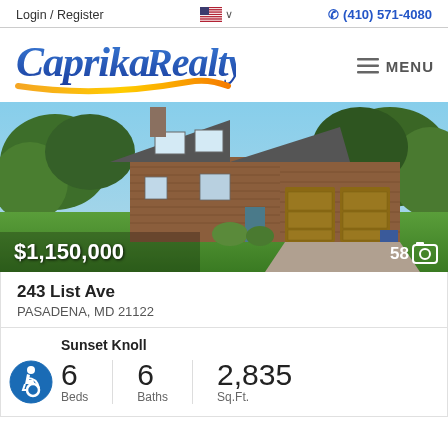Login / Register  (410) 571-4080
[Figure (logo): Caprika Realty logo with blue cursive script text and orange/yellow swoosh underline]
[Figure (photo): Exterior photo of a two-story brown cedar shake house with attached two-car garage, green lawn, and trees. Price overlay: $1,150,000, photo count: 58]
243 List Ave
PASADENA, MD 21122
Sunset Knoll
6 Beds   6 Baths   2,835 Sq.Ft.